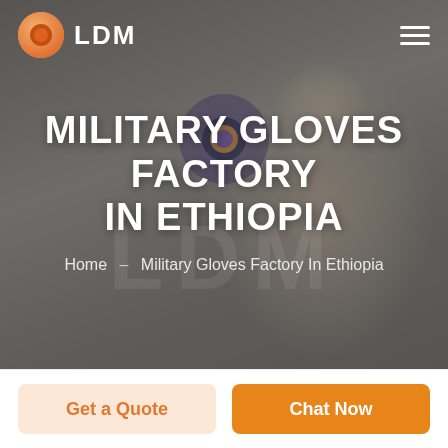[Figure (screenshot): Hero section of LDM website showing a man smiling in background with dark overlay. Includes LDM logo with orange donut icon top left, hamburger menu top right, large watermark LDM text in center, and an orange LDM logo watermark center.]
MILITARY GLOVES FACTORY IN ETHIOPIA
Home  -  Military Gloves Factory In Ethiopia
Get a Quote
Chat Now